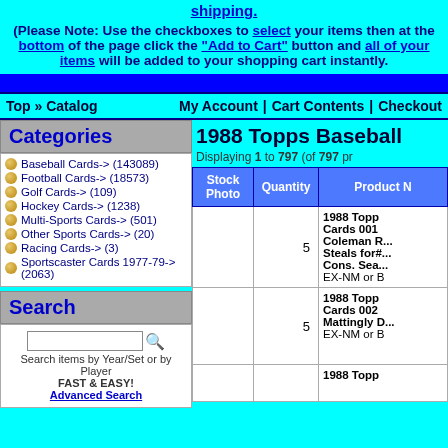shipping.
(Please Note: Use the checkboxes to select your items then at the bottom of the page click the "Add to Cart" button and all of your items will be added to your shopping cart instantly.
Top » Catalog    My Account  |  Cart Contents  |  Checkout
1988 Topps Baseball
Displaying 1 to 797 (of 797 products)
| Stock Photo | Quantity | Product Name |
| --- | --- | --- |
|  | 5 | 1988 Topps Baseball Cards 001 Coleman R... Steals for#... Cons. Sea... EX-NM or B |
|  | 5 | 1988 Topps Baseball Cards 002 Mattingly D... EX-NM or B |
|  |  | 1988 Topp... |
Categories
Baseball Cards-> (143089)
Football Cards-> (18573)
Golf Cards-> (109)
Hockey Cards-> (1238)
Multi-Sports Cards-> (501)
Other Sports Cards-> (20)
Racing Cards-> (3)
Sportscaster Cards 1977-79-> (2063)
Search
Search items by Year/Set or by Player FAST & EASY!
Advanced Search